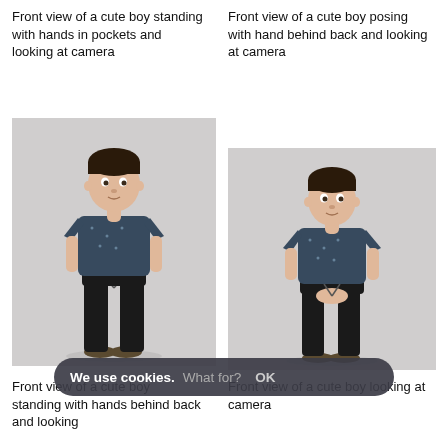Front view of a cute boy standing with hands in pockets and looking at camera
Front view of a cute boy posing with hand behind back and looking at camera
[Figure (photo): Front view of a cute boy standing with hands in pockets and looking at camera. Boy wearing dark t-shirt and black pants with draw-string, olive shoes, on grey background.]
[Figure (photo): Front view of a cute boy posing with hand behind back and looking at camera. Boy wearing dark t-shirt and black pants, olive shoes, on grey background.]
Front view of a cute boy standing with hands behind back and looking
Front view of a cute boy looking at camera
We use cookies. What for? OK